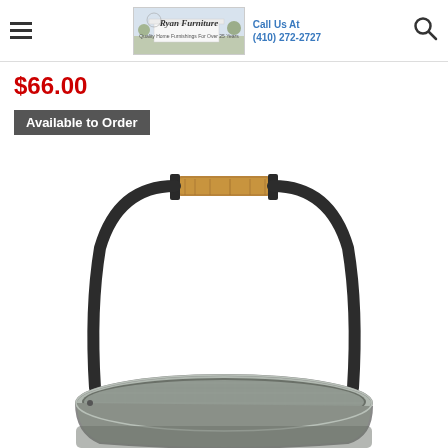Ryan Furniture | Call Us At (410) 272-2727
$66.00
Available to Order
[Figure (photo): A galvanized metal bucket/basket with a black arched metal handle and wooden grip at the top center. The top rim of the galvanized silver bucket is visible at the bottom of the image.]